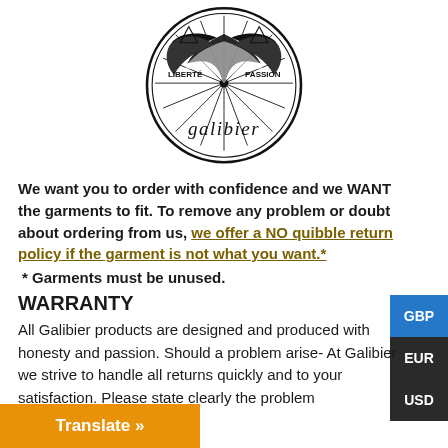[Figure (logo): Galibier brand logo: circular bicycle wheel design with winged motif, text 'LIBERTE' and 'PASSION' on either side, 'galibier' script text at bottom]
We want you to order with confidence and we WANT the garments to fit. To remove any problem or doubt about ordering from us, we offer a NO quibble return policy if the garment is not what you want.*
* Garments must be unused.
WARRANTY
All Galibier products are designed and produced with honesty and passion. Should a problem arise- At Galibier we strive to handle all returns quickly and to your satisfaction. Please state clearly the problem